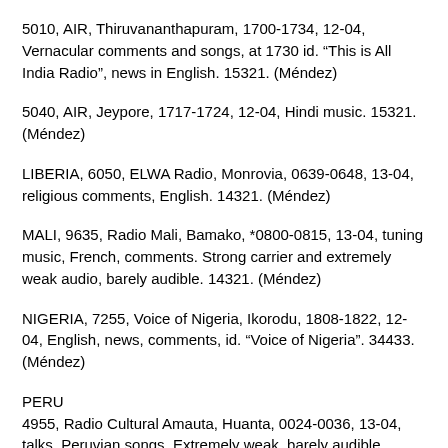5010, AIR, Thiruvananthapuram, 1700-1734, 12-04, Vernacular comments and songs, at 1730 id. “This is All India Radio”, news in English. 15321. (Méndez)
5040, AIR, Jeypore, 1717-1724, 12-04, Hindi music. 15321. (Méndez)
LIBERIA, 6050, ELWA Radio, Monrovia, 0639-0648, 13-04, religious comments, English. 14321. (Méndez)
MALI, 9635, Radio Mali, Bamako, *0800-0815, 13-04, tuning music, French, comments. Strong carrier and extremely weak audio, barely audible. 14321. (Méndez)
NIGERIA, 7255, Voice of Nigeria, Ikorodu, 1808-1822, 12-04, English, news, comments, id. “Voice of Nigeria”. 34433. (Méndez)
PERU
4955, Radio Cultural Amauta, Huanta, 0024-0036, 13-04, talks, Peruvian songs. Extremely weak, barely audible. 15321. (Méndez)